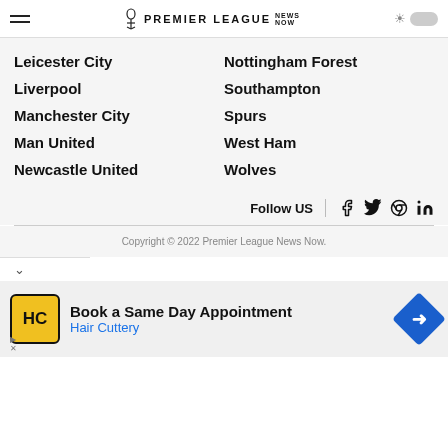PREMIER LEAGUE NEWS NOW
Leicester City
Liverpool
Manchester City
Man United
Newcastle United
Nottingham Forest
Southampton
Spurs
West Ham
Wolves
Follow US
Copyright © 2022 Premier League News Now.
Book a Same Day Appointment Hair Cuttery